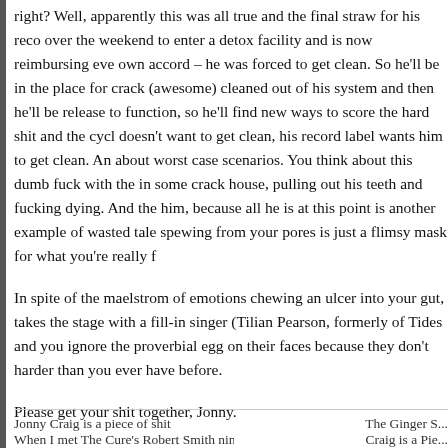right? Well, apparently this was all true and the final straw for his reco over the weekend to enter a detox facility and is now reimbursing eve own accord – he was forced to get clean. So he'll be in the place for crack (awesome) cleaned out of his system and then he'll be release to function, so he'll find new ways to score the hard shit and the cycl doesn't want to get clean, his record label wants him to get clean. An about worst case scenarios. You think about this dumb fuck with the in some crack house, pulling out his teeth and fucking dying. And the him, because all he is at this point is another example of wasted tale spewing from your pores is just a flimsy mask for what you're really f
In spite of the maelstrom of emotions chewing an ulcer into your gut, takes the stage with a fill-in singer (Tilian Pearson, formerly of Tides and you ignore the proverbial egg on their faces because they don't harder than you ever have before.
Please get your shit together, Jonny.
Jonny Craig is a piece of shit | When I met The Cure's Robert Smith nine years | The Ginger S... | Craig is a Pie...